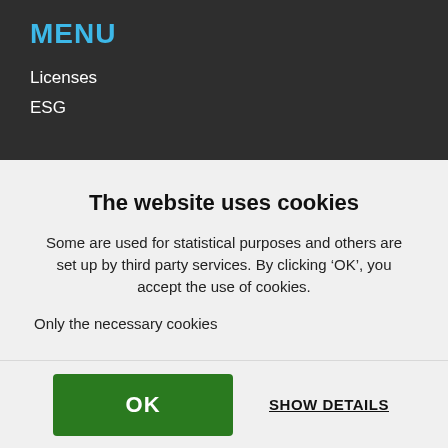MENU
Licenses
ESG
The website uses cookies
Some are used for statistical purposes and others are set up by third party services. By clicking ‘OK’, you accept the use of cookies.
Only the necessary cookies
OK
SHOW DETAILS